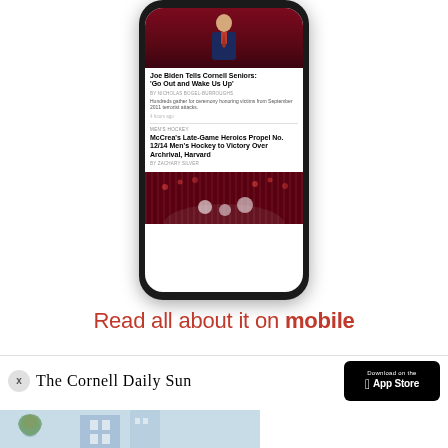[Figure (screenshot): Smartphone mockup showing Cornell Daily Sun mobile app with two articles: 'Joe Biden Tells Cornell Seniors: Go Out and Wake Us Up' and 'McCrea's Late-Game Heroics Propel No. 12/14 Men's Hockey to Victory Over Archrival, Harvard']
Read all about it on mobile
[Figure (logo): The Cornell Daily Sun newspaper logo in blackletter font]
[Figure (logo): Download on the App Store button]
[Figure (photo): Partial photo at bottom of page showing a person outdoors]